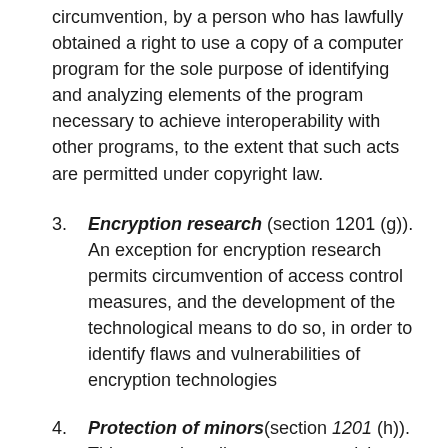circumvention, by a person who has lawfully obtained a right to use a copy of a computer program for the sole purpose of identifying and analyzing elements of the program necessary to achieve interoperability with other programs, to the extent that such acts are permitted under copyright law.
3. Encryption research (section 1201 (g)). An exception for encryption research permits circumvention of access control measures, and the development of the technological means to do so, in order to identify flaws and vulnerabilities of encryption technologies
4. Protection of minors(section 1201 (h)). This exception allows a court applying the prohibition to a component or part to consider the necessity for its incorporation in technology that prevents